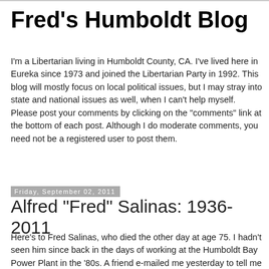Fred's Humboldt Blog
I'm a Libertarian living in Humboldt County, CA. I've lived here in Eureka since 1973 and joined the Libertarian Party in 1992. This blog will mostly focus on local political issues, but I may stray into state and national issues as well, when I can't help myself. Please post your comments by clicking on the "comments" link at the bottom of each post. Although I do moderate comments, you need not be a registered user to post them.
Friday, September 02, 2011
Alfred "Fred" Salinas: 1936-2011
Here's to Fred Salinas, who died the other day at age 75. I hadn't seen him since back in the days of working at the Humboldt Bay Power Plant in the '80s. A friend e-mailed me yesterday to tell me he saw his name in the Times- Standard